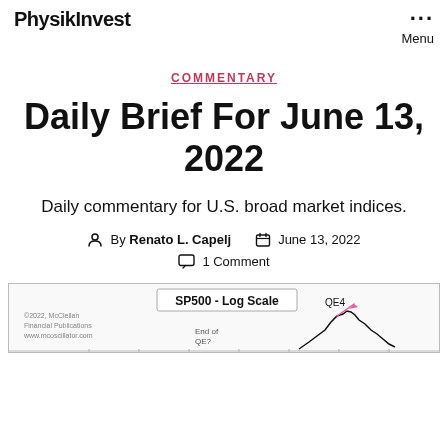PhysikInvest   Menu
COMMENTARY
Daily Brief For June 13, 2022
Daily commentary for U.S. broad market indices.
By Renato L. Capelj   June 13, 2022
1 Comment
[Figure (continuous-plot): SP500 Log Scale chart showing price movement with QE4 label and a rising trend line ending in a sharp decline, partial view at bottom of page. Labeled: SP500 - Log Scale, QE4, End of QE?, copyright 2022 McClellan Financial Publications.]